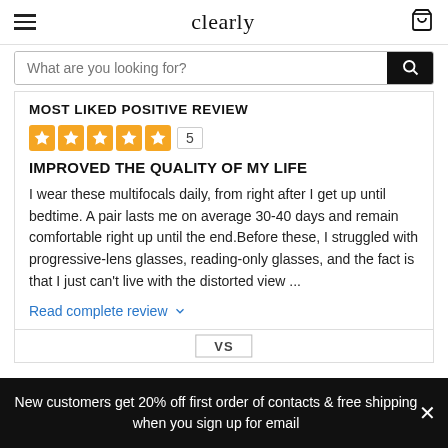clearly
What are you looking for?
MOST LIKED POSITIVE REVIEW
5 stars, rating 5
IMPROVED THE QUALITY OF MY LIFE
I wear these multifocals daily, from right after I get up until bedtime. A pair lasts me on average 30-40 days and remain comfortable right up until the end.Before these, I struggled with progressive-lens glasses, reading-only glasses, and the fact is that I just can't live with the distorted view ...
Read complete review
VS
New customers get 20% off first order of contacts & free shipping when you sign up for email